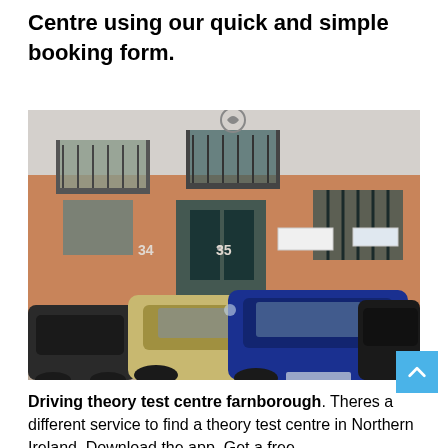Centre using our quick and simple booking form.
[Figure (photo): Street-level photo of a driving theory test centre building (unit 35), with cars parked in front — a gold/champagne coloured car and a blue car, plus a dark car partially visible on each side. The building has brick lower facade, balconies, and green-tinted glass entrance doors.]
Driving theory test centre farnborough. Theres a different service to find a theory test centre in Northern Ireland. Download the app. Get a free